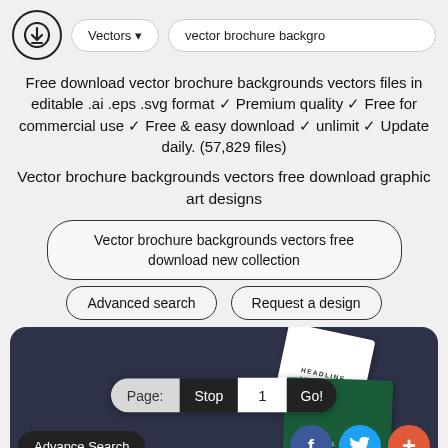Vectors ▾  vector brochure backgro
Free download vector brochure backgrounds vectors files in editable .ai .eps .svg format ✓ Premium quality ✓ Free for commercial use ✓ Free & easy download ✓ unlimit ✓ Update daily. (57,829 files)
Vector brochure backgrounds vectors free download graphic art designs
Vector brochure backgrounds vectors free download new collection
Advanced search
Request a design
[Figure (screenshot): Preview of vector brochure backgrounds with pagination controls (Page: Stop 1 Go!), Advance Search button, and social icons (Facebook, Twitter, plus).]